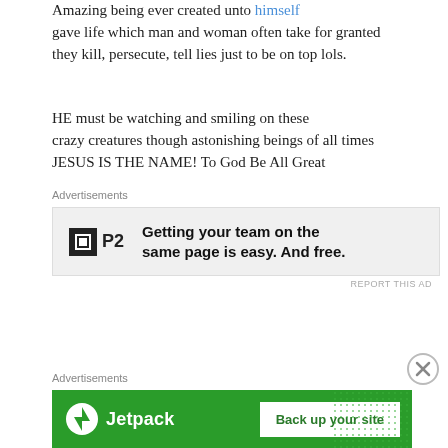Amazing being ever created unto himself gave life which man and woman often take for granted they kill, persecute, tell lies just to be on top lols.
HE must be watching and smiling on these crazy creatures though astonishing beings of all times JESUS IS THE NAME! To God Be All Great
Advertisements
[Figure (screenshot): P2 advertisement: Getting your team on the same page is easy. And free.]
REPORT THIS AD
[Figure (other): Close/dismiss button (circled X)]
Advertisements
[Figure (screenshot): Jetpack advertisement: Back up your site]
REPORT THIS AD